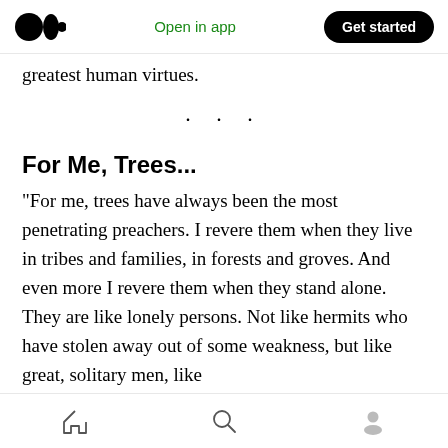Medium logo | Open in app | Get started
greatest human virtues.
· · ·
For Me, Trees...
“For me, trees have always been the most penetrating preachers. I revere them when they live in tribes and families, in forests and groves. And even more I revere them when they stand alone. They are like lonely persons. Not like hermits who have stolen away out of some weakness, but like great, solitary men, like
Home | Search | Profile